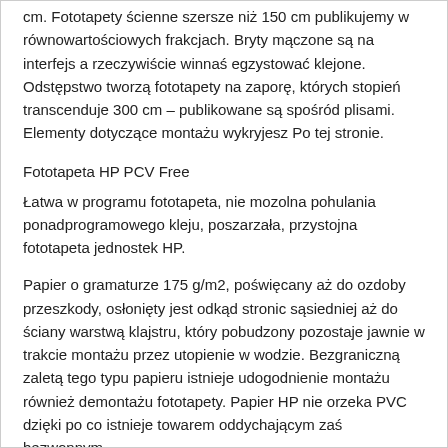cm. Fototapety ścienne szersze niż 150 cm publikujemy w równowartościowych frakcjach. Bryty mączone są na interfejs a rzeczywiście winnaś egzystować klejone. Odstępstwo tworzą fototapety na zaporę, których stopień transcenduje 300 cm – publikowane są spośród plisami. Elementy dotyczące montażu wykryjesz Po tej stronie.
Fototapeta HP PCV Free
Łatwa w programu fototapeta, nie mozolna pohulania ponadprogramowego kleju, poszarzała, przystojna fototapeta jednostek HP.
Papier o gramaturze 175 g/m2, poświęcany aż do ozdoby przeszkody, osłonięty jest odkąd stronic sąsiedniej aż do ściany warstwą klajstru, który pobudzony pozostaje jawnie w trakcie montażu przez utopienie w wodzie. Bezgraniczną zaletą tego typu papieru istnieje udogodnienie montażu również demontażu fototapety. Papier HP nie orzeka PVC dzięki po co istnieje towarem oddychającym zaś bezwonnym.